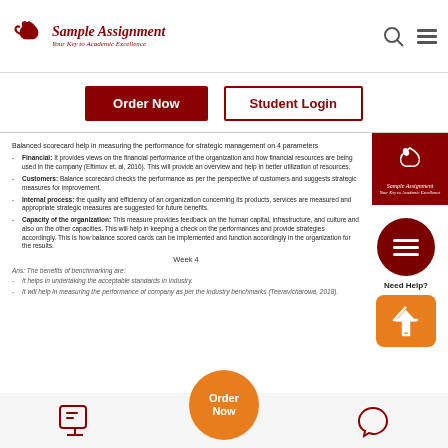Sample Assignment — Your Key to Academic Excellence
Order Now | Student Login
[Figure (logo): Sample Assignment logo badge in dark red]
Balanced scorecard help in measuring the performance for strategic management on 4 parameters
Financial: It provides views on the financial performance of the organization and how financial resources are being used in the company (Eftimov et. al, 2016). This will provide an overview and help in better utilization of resources.
Customers: Balance scorecard checks the performance as per the perspective of customers and suggests strategic measures for improvement.
Internal process: the quality and efficiency of an organization concerning its products, services are measured and appropriate strategic measures are suggested for future benefits.
Capacity of the organization: This measure provides feedback on the human capital, infrastructure, and culture and also on the other capacities. This will help in keeping a check on the performances and provide strategies accordingly. This is how balance scored cards can be implemented and function accordingly in the organization for the results.
Week 4
Ans: The benefits of benchmarking are:
It helps in undertaking the acceptable standards in industry.
It will help in measuring the performance of company as per the industry benchmarks (Teeravicharowa, 2018).
Order Now